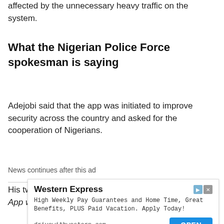affected by the unnecessary heavy traffic on the system.
What the Nigerian Police Force spokesman is saying
Adejobi said that the app was initiated to improve security across the country and asked for the cooperation of Nigerians.
News continues after this ad
His tweet post reads, “On our NPF Rescue Me App we want to urge Nigerians to please stop fake
[Figure (other): Advertisement for Western Express: 'High Weekly Pay Guarantees and Home Time, Great Benefits, PLUS Paid Vacation. Apply Today!' with drivewithwestern.com URL and OPEN button]